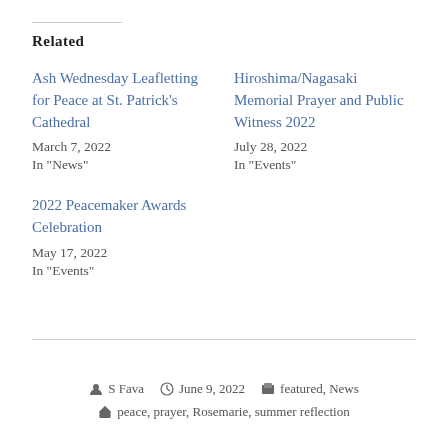Related
Ash Wednesday Leafletting for Peace at St. Patrick's Cathedral
March 7, 2022
In "News"
Hiroshima/Nagasaki Memorial Prayer and Public Witness 2022
July 28, 2022
In "Events"
2022 Peacemaker Awards Celebration
May 17, 2022
In "Events"
S Fava   June 9, 2022   featured, News   peace, prayer, Rosemarie, summer reflection